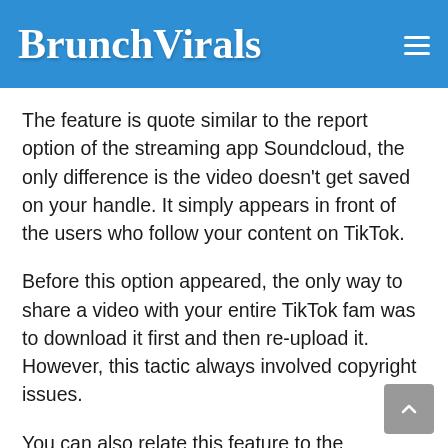BrunchVirals
The feature is quote similar to the report option of the streaming app Soundcloud, the only difference is the video doesn't get saved on your handle. It simply appears in front of the users who follow your content on TikTok.
Before this option appeared, the only way to share a video with your entire TikTok fam was to download it first and then re-upload it. However, this tactic always involved copyright issues.
You can also relate this feature to the 'Retweet' option of Twitter that allows the users to share content from other Twitter handles while giving credit to the creator.